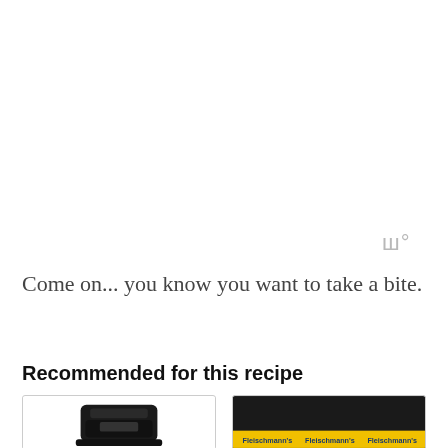[Figure (other): Watermark or icon symbol in grey, resembling stacked letter W with a small circle, positioned upper right area]
Come on... you know you want to take a bite.
Recommended for this recipe
[Figure (photo): Product image of a black kitchen appliance (appears to be a stand mixer or similar device) on white background]
[Figure (photo): Product image with Fleischmann's brand label shown in yellow and blue repeated across the bottom strip on dark background]